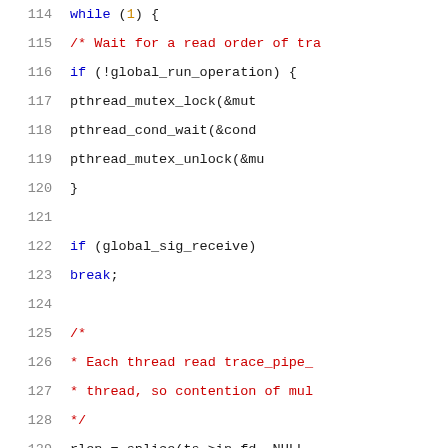[Figure (screenshot): Source code listing in C showing lines 114-135 of a program. The code shows a while loop with pthread mutex/cond operations, signal checking (global_sig_receive), and a splice() call for reading from a pipe file descriptor. Syntax highlighted with blue keywords, red comments and strings, dark body text.]